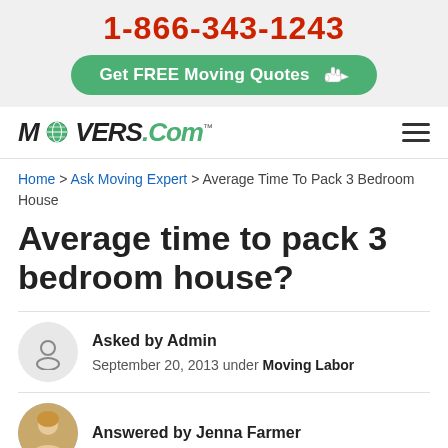1-866-343-1243
Get FREE Moving Quotes
[Figure (logo): Movers.Com logo with globe icon replacing the O, italic bold serif font, green .Com text]
Navigation hamburger menu icon
Home > Ask Moving Expert > Average Time To Pack 3 Bedroom House
Average time to pack 3 bedroom house?
Asked by Admin
September 20, 2013 under Moving Labor
Answered by Jenna Farmer